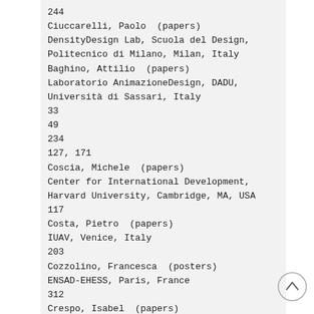244
Ciuccarelli, Paolo  (papers)
DensityDesign Lab, Scuola del Design,
Politecnico di Milano, Milan, Italy
Baghino, Attilio  (papers)
Laboratorio AnimazioneDesign, DADU,
Università di Sassari, Italy
33
49
234
127, 171
Coscia, Michele  (papers)
Center for International Development,
Harvard University, Cambridge, MA, USA
117
Costa, Pietro  (papers)
IUAV, Venice, Italy
203
Cozzolino, Francesca  (posters)
ENSAD-EHESS, Paris, France
312
Crespo, Isabel  (papers)
UPC, Barcelona, Spain
214